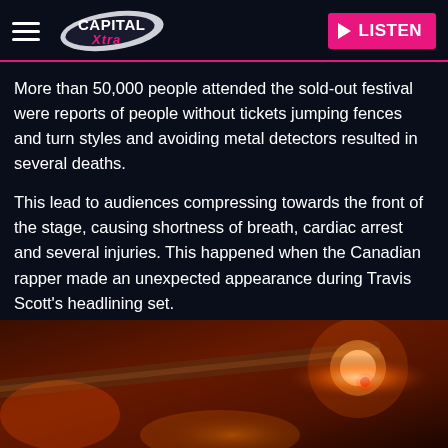Capital Xtra — LISTEN
More than 50,000 people attended the sold-out festival were reports of people without tickets jumping fences and turn styles and avoiding metal detectors resulted in several deaths.
This lead to audiences compressing towards the front of the stage, causing shortness of breath, cardiac arrest and several injuries. This happened when the Canadian rapper made an unexpected appearance during Travis Scott's headlining set.
[Figure (photo): Dark orange/red blurred photo of a concert venue scene, possibly showing stage lighting and crowd barriers at night]